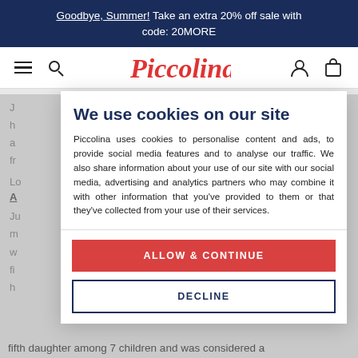Goodbye, Summer! Take an extra 20% off sale with code: 20MORE
[Figure (logo): Piccolina script logo in red italic font]
We use cookies on our site
Piccolina uses cookies to personalise content and ads, to provide social media features and to analyse our traffic. We also share information about your use of our site with our social media, advertising and analytics partners who may combine it with other information that you've provided to them or that they've collected from your use of their services.
ALLOW & CONTINUE
DECLINE
fifth daughter among 7 children and was considered a